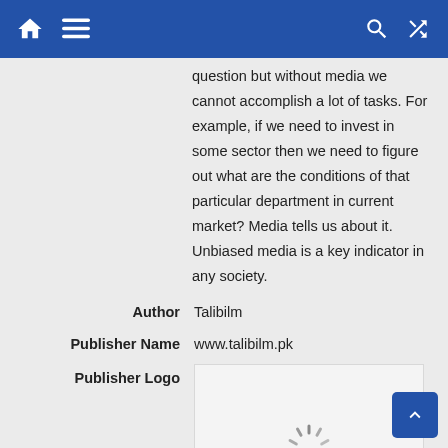Home | Menu | Search | Shuffle
question but without media we cannot accomplish a lot of tasks. For example, if we need to invest in some sector then we need to figure out what are the conditions of that particular department in current market? Media tells us about it. Unbiased media is a key indicator in any society.
| Field | Value |
| --- | --- |
| Author | Talibilm |
| Publisher Name | www.talibilm.pk |
| Publisher Logo |  |